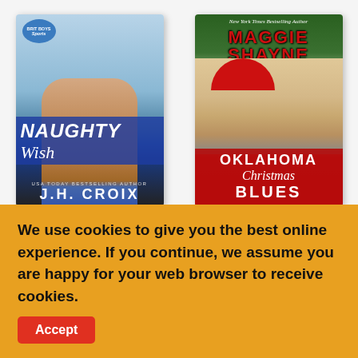[Figure (illustration): Book cover for 'Naughty Wish' by J.H. Croix. Shows a shirtless muscular man against a snowy blue background. Title text 'NAUGHTY Wish' in white over a blue band. Subtitle 'USA Today Bestselling Author J.H. CROIX'. Badge reads 'Brit Boys Sports'.]
[Figure (illustration): Book cover for 'Oklahoma Christmas Blues' by Maggie Shayne. Shows a couple in Christmas attire (woman in Santa hat, man behind her). Text: 'New York Times Bestselling Author MAGGIE SHAYNE' at top in red. Title 'OKLAHOMA Christmas Blues' in white on red background.]
We use cookies to give you the best online experience. If you continue, we assume you are happy for your web browser to receive cookies.
Accept